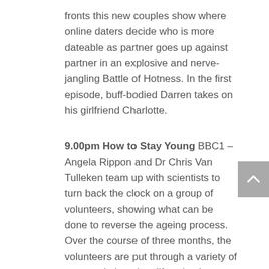fronts this new couples show where online daters decide who is more dateable as partner goes up against partner in an explosive and nerve-jangling Battle of Hotness. In the first episode, buff-bodied Darren takes on his girlfriend Charlotte.
9.00pm How to Stay Young BBC1 – Angela Rippon and Dr Chris Van Tulleken team up with scientists to turn back the clock on a group of volunteers, showing what can be done to reverse the ageing process. Over the course of three months, the volunteers are put through a variety of tests and placed on lifestyle plan to turn back the clock on ageing, but will it work? Can they reverse their body age?
Notable Continuing Series: Grand Designs
9.00pm, Channel 4